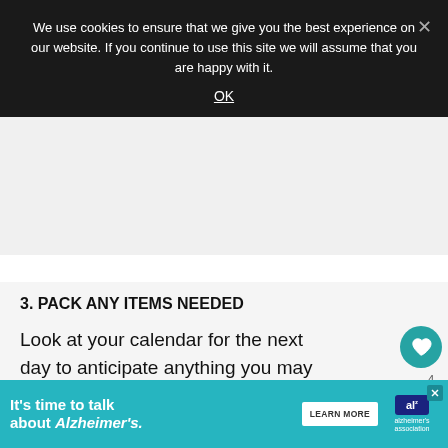We use cookies to ensure that we give you the best experience on our website. If you continue to use this site we will assume that you are happy with it.
OK
3. PACK ANY ITEMS NEEDED
Look at your calendar for the next day to anticipate anything you may need to pack in your purse, lunch bag, or backpack.
Do you have errands to run the next
[Figure (infographic): What's Next widget with teal arrow, circular image of Kick Start product, and text '5 Tips to Kick Start Your...']
[Figure (infographic): Alzheimer's Association advertisement banner: 'It's time to talk about Alzheimer's.' with LEARN MORE button and Alzheimer's association logo]